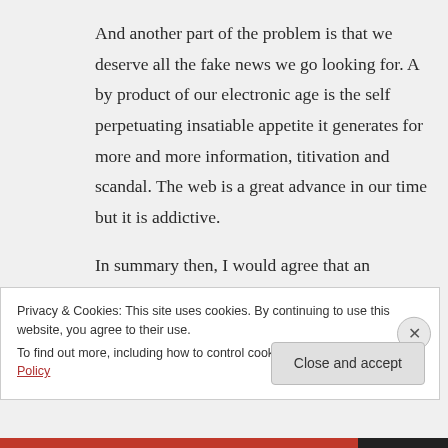And another part of the problem is that we deserve all the fake news we go looking for. A by product of our electronic age is the self perpetuating insatiable appetite it generates for more and more information, titivation and scandal. The web is a great advance in our time but it is addictive.
In summary then, I would agree that an education which includes critical awareness along with the self discipline of selective
Privacy & Cookies: This site uses cookies. By continuing to use this website, you agree to their use.
To find out more, including how to control cookies, see here: Cookie Policy